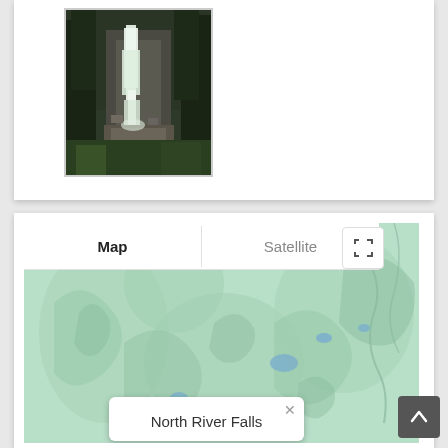[Figure (photo): Photograph of a waterfall in a forested mountain setting, with rocky ledges and lush green vegetation surrounding a white cascading waterfall.]
[Figure (map): Google Maps interface showing a topographic map view of a forested mountainous area with small blue lakes/ponds visible. The map has 'Map' and 'Satellite' tab controls at the top, a fullscreen button, and a popup tooltip at the bottom reading 'North River Falls'. A scroll-to-top arrow button is in the bottom-right corner.]